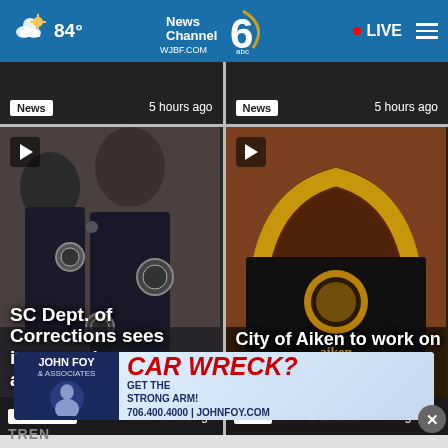84° News Channel 6 abc WJBF.COM | LIVE
[Figure (screenshot): Partial news card top strip showing two cards with 'News' tag and '5 hours ago']
[Figure (photo): SC Dept. of Corrections sees increase in applications — police officers in uniform, CSRA News, 11 hours ago]
[Figure (photo): City of Aiken to work on beautifying gateway roads — City of Aiken sign, News, 11 hours ago]
[Figure (infographic): Ad banner: John Foy & Associates — CAR WRECK? GET THE STRONG ARM! 706.400.4000 | JOHNFOY.COM]
TREN